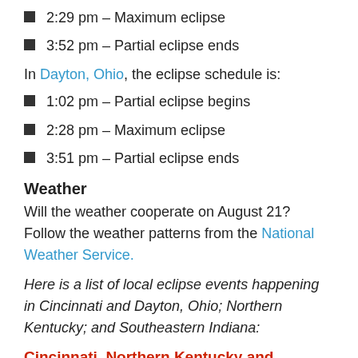2:29 pm – Maximum eclipse
3:52 pm – Partial eclipse ends
In Dayton, Ohio, the eclipse schedule is:
1:02 pm – Partial eclipse begins
2:28 pm – Maximum eclipse
3:51 pm – Partial eclipse ends
Weather
Will the weather cooperate on August 21? Follow the weather patterns from the National Weather Service.
Here is a list of local eclipse events happening in Cincinnati and Dayton, Ohio; Northern Kentucky; and Southeastern Indiana:
Cincinnati, Northern Kentucky and Southeastern